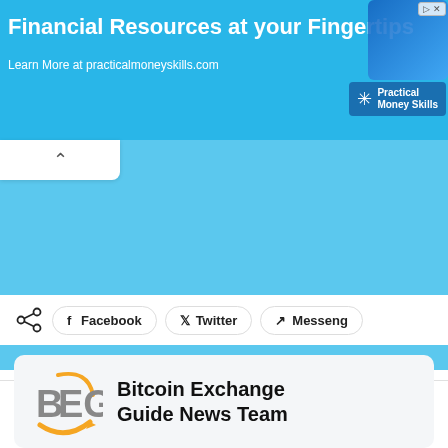[Figure (infographic): Ad banner: 'Financial Resources at your Fingertips — Learn More at practicalmoneyskills.com' with Practical Money Skills logo and phone image on blue background]
[Figure (illustration): Expanded light blue collapse/accordion panel below the ad banner with a white tab showing a chevron-up icon]
Facebook  Twitter  Messeng
[Figure (logo): BEG (Bitcoin Exchange Guide) orange and grey logo]
Bitcoin Exchange Guide News Team